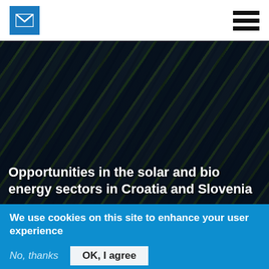[Figure (photo): Aerial view of a large solar panel farm with rows of blue photovoltaic panels arranged diagonally across green fields]
Opportunities in the solar and bio energy sectors in Croatia and Slovenia
We use cookies on this site to enhance your user experience
By clicking any link on this page you are giving your consent for us to set cookies. More info
No, thanks   OK, I agree